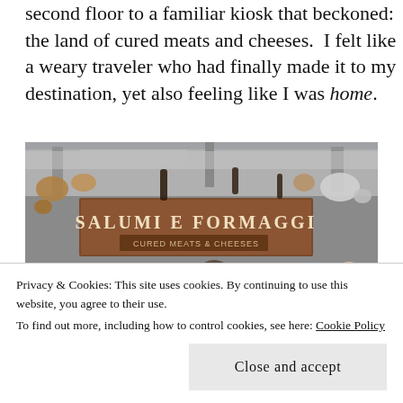second floor to a familiar kiosk that beckoned: the land of cured meats and cheeses. I felt like a weary traveler who had finally made it to my destination, yet also feeling like I was home.
[Figure (photo): Interior of a deli/market kiosk with a large sign reading 'SALUMI E FORMAGGI CURED MEATS & CHEESES'. Customers are visible at the counter, with hanging cookware and display cases of Italian cured meats and cheeses visible.]
Privacy & Cookies: This site uses cookies. By continuing to use this website, you agree to their use.
To find out more, including how to control cookies, see here: Cookie Policy
Close and accept